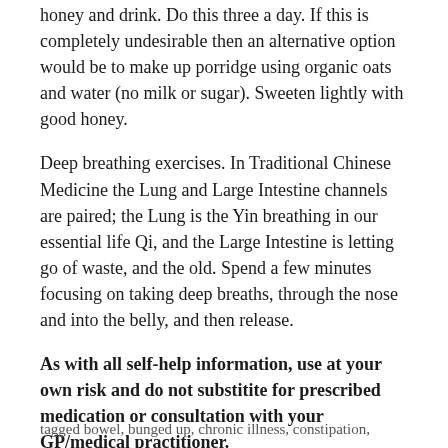honey and drink. Do this three a day. If this is completely undesirable then an alternative option would be to make up porridge using organic oats and water (no milk or sugar). Sweeten lightly with good honey.
Deep breathing exercises. In Traditional Chinese Medicine the Lung and Large Intestine channels are paired; the Lung is the Yin breathing in our essential life Qi, and the Large Intestine is letting go of waste, and the old. Spend a few minutes focusing on taking deep breaths, through the nose and into the belly, and then release.
As with all self-help information, use at your own risk and do not substitite for prescribed medication or consultation with your GP/medical practitioner.
tagged bowel, bunged up, chronic illness, constipation,